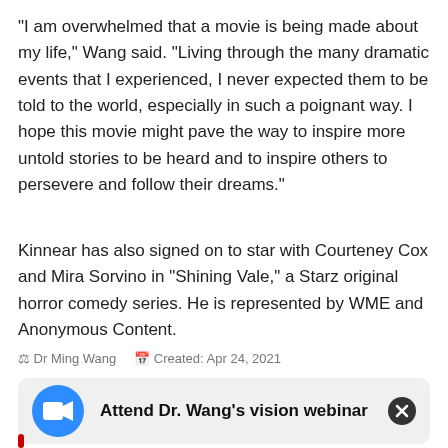“I am overwhelmed that a movie is being made about my life,” Wang said. “Living through the many dramatic events that I experienced, I never expected them to be told to the world, especially in such a poignant way. I hope this movie might pave the way to inspire more untold stories to be heard and to inspire others to persevere and follow their dreams.”
Kinnear has also signed on to star with Courteney Cox and Mira Sorvino in “Shining Vale,” a Starz original horror comedy series. He is represented by WME and Anonymous Content.
♖ Dr Ming Wang   📅 Created: Apr 24, 2021
[Figure (other): A promotional banner/widget with a blue Zoom camera icon on the left and bold text reading 'Attend Dr. Wang's vision webinar' with a dark close (X) button on the right, on a light gray rounded rectangle background.]